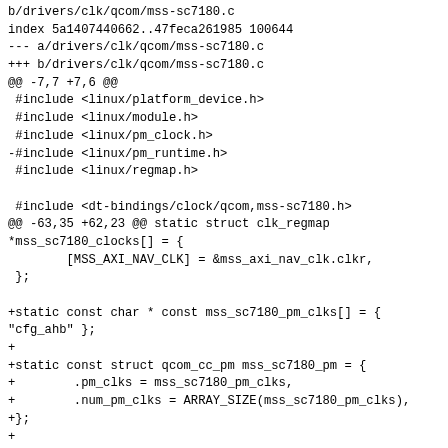b/drivers/clk/qcom/mss-sc7180.c
index 5a1407440662..47feca261985 100644
--- a/drivers/clk/qcom/mss-sc7180.c
+++ b/drivers/clk/qcom/mss-sc7180.c
@@ -7,7 +7,6 @@
 #include <linux/platform_device.h>
 #include <linux/module.h>
 #include <linux/pm_clock.h>
-#include <linux/pm_runtime.h>
 #include <linux/regmap.h>

 #include <dt-bindings/clock/qcom,mss-sc7180.h>
@@ -63,35 +62,23 @@ static struct clk_regmap
*mss_sc7180_clocks[] = {
        [MSS_AXI_NAV_CLK] = &mss_axi_nav_clk.clkr,
 };

+static const char * const mss_sc7180_pm_clks[] = {
"cfg_ahb" };
+
+static const struct qcom_cc_pm mss_sc7180_pm = {
+        .pm_clks = mss_sc7180_pm_clks,
+        .num_pm_clks = ARRAY_SIZE(mss_sc7180_pm_clks),
+};
+
 static const struct qcom_cc_desc mss_sc7180_desc = {
        .config = &mss_regmap_config,
+        .pm = &mss_sc7180_pm,
        .clks = mss_sc7180_clocks,
        .num_clks = ARRAY_SIZE(mss_sc7180_clocks),